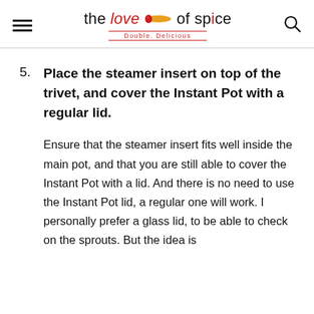the love of spice — Double. Delicious
5. Place the steamer insert on top of the trivet, and cover the Instant Pot with a regular lid.
Ensure that the steamer insert fits well inside the main pot, and that you are still able to cover the Instant Pot with a lid. And there is no need to use the Instant Pot lid, a regular one will work. I personally prefer a glass lid, to be able to check on the sprouts. But the idea is